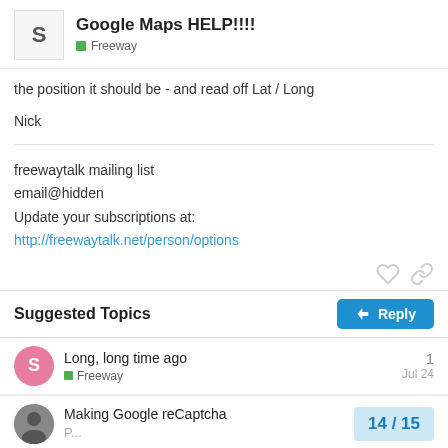Google Maps HELP!!!! — Freeway
the position it should be - and read off Lat / Long

Nick
freewaytalk mailing list
email@hidden
Update your subscriptions at:
http://freewaytalk.net/person/options
Suggested Topics
Long, long time ago
Freeway
1
Jul 24
Making Google reCaptcha
14 / 15